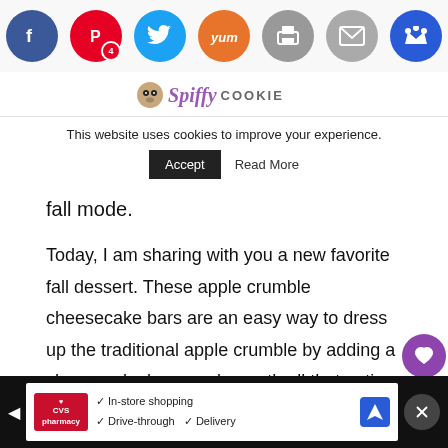[Figure (screenshot): Social media sharing icons row: Facebook (blue), Pinterest (red, badge 4), Twitter (blue), Yummly (orange), Print (gray), Mail (gray), Crown (blue)]
This website uses cookies to improve your experience.
Accept   Read More
[Figure (logo): Spiffy Cookie logo with cookie mascot icon, stylized script 'Spiffy' in purple and 'COOKIE' in gray caps]
fall mode.
Today, I am sharing with you a new favorite fall dessert. These apple crumble cheesecake bars are an easy way to dress up the traditional apple crumble by adding a cheesecake layer underneath all that entire apple pie filling. The bars are a sweet combination of the warm spices of the fall and the delectable creaminess of cheesecake.
[Figure (screenshot): WHAT'S NEXT widget with thumbnail image of mixed berry bars. Text: 'Guest Post: Mixed Berry...']
[Figure (screenshot): CVS Pharmacy advertisement banner: In-store shopping, Drive-through, Delivery options with navigation icon]